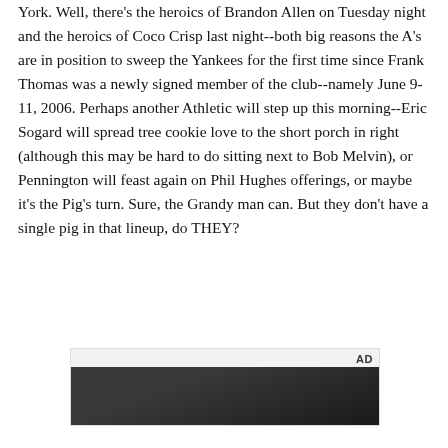York. Well, there's the heroics of Brandon Allen on Tuesday night and the heroics of Coco Crisp last night--both big reasons the A's are in position to sweep the Yankees for the first time since Frank Thomas was a newly signed member of the club--namely June 9-11, 2006. Perhaps another Athletic will step up this morning--Eric Sogard will spread tree cookie love to the short porch in right (although this may be hard to do sitting next to Bob Melvin), or Pennington will feast again on Phil Hughes offerings, or maybe it's the Pig's turn. Sure, the Grandy man can. But they don't have a single pig in that lineup, do THEY?
[Figure (other): Advertisement box with 'AD' label and a dark-toned image below it (appears to be a person in a dark setting)]